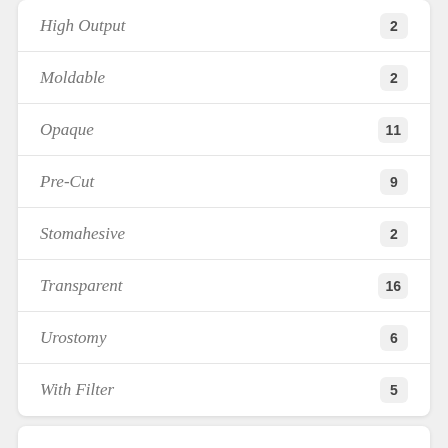High Output  2
Moldable  2
Opaque  11
Pre-Cut  9
Stomahesive  2
Transparent  16
Urostomy  6
With Filter  5
SIZE
1 1/4 in (32mm)  4